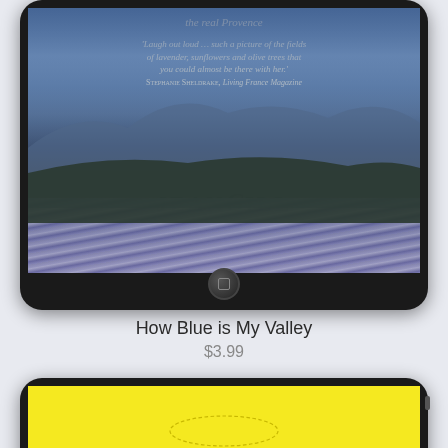[Figure (photo): iPad/tablet displaying book cover for 'How Blue is My Valley' by Jean Gill, showing lavender fields in Provence with a review quote. The tablet has a black bezel and home button.]
How Blue is My Valley
$3.99
[Figure (photo): Second tablet/e-reader showing a yellow background with green cursive text beginning with 'W', partially visible at the bottom of the page.]